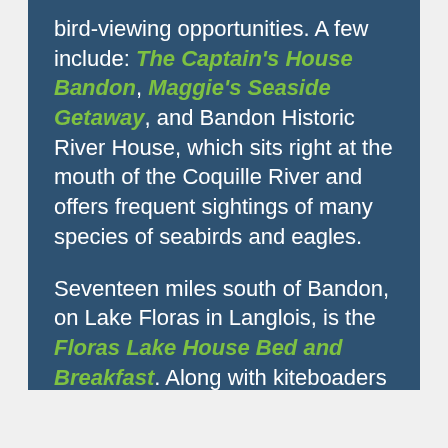bird-viewing opportunities. A few include: The Captain's House Bandon, Maggie's Seaside Getaway, and Bandon Historic River House, which sits right at the mouth of the Coquille River and offers frequent sightings of many species of seabirds and eagles.

Seventeen miles south of Bandon, on Lake Floras in Langlois, is the Floras Lake House Bed and Breakfast. Along with kiteboaders on the lake, you may spot blue heron, osprey, and bald eagles during your stay.